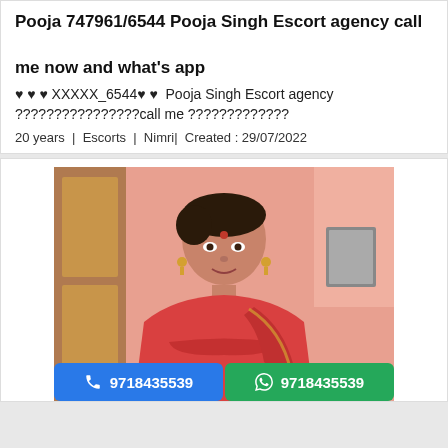Pooja 747961/6544 Pooja Singh Escort agency call me now and what's app
♥ ♥ ♥ XXXXX_6544♥ ♥  Pooja Singh Escort agency ????????????????call me ?????????????
20 years | Escorts | Nimri| Created : 29/07/2022
[Figure (photo): Photo of a young woman in a red saree/dress standing in front of a pink wall with a wooden door. Two contact buttons at the bottom: blue call button and green WhatsApp button, both showing 9718435539.]